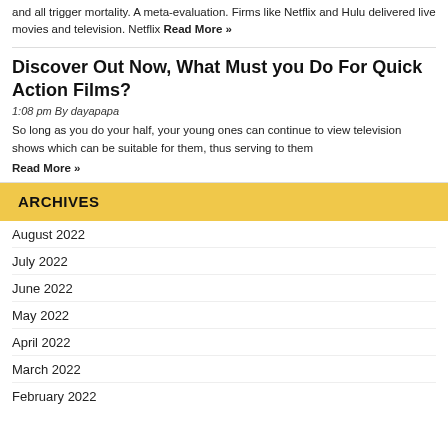and all trigger mortality. A meta-evaluation. Firms like Netflix and Hulu delivered live movies and television. Netflix Read More »
Discover Out Now, What Must you Do For Quick Action Films?
1:08 pm By dayapapa
So long as you do your half, your young ones can continue to view television shows which can be suitable for them, thus serving to them
Read More »
ARCHIVES
August 2022
July 2022
June 2022
May 2022
April 2022
March 2022
February 2022